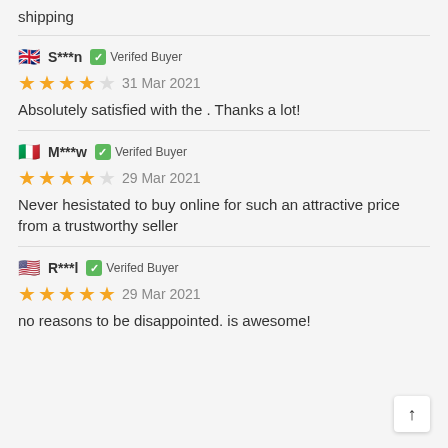shipping
🇬🇧 S***n ✅ Verifed Buyer
⭐⭐⭐⭐☆ 31 Mar 2021
Absolutely satisfied with the . Thanks a lot!
🇮🇹 M***w ✅ Verifed Buyer
⭐⭐⭐⭐☆ 29 Mar 2021
Never hesistated to buy online for such an attractive price from a trustworthy seller
🇺🇸 R***l ✅ Verifed Buyer
⭐⭐⭐⭐⭐ 29 Mar 2021
no reasons to be disappointed. is awesome!